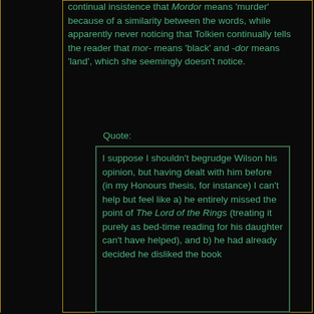continual insistence that Mordor means 'murder' because of a similarity between the words, while apparently never noticing that Tolkien continually tells the reader that mor- means 'black' and -dor means 'land', which she seemingly doesn't notice.
Quote:
I suppose I shouldn't begrudge Wilson his opinion, but having dealt with him before (in my Honours thesis, for instance) I can't help but feel like a) he entirely missed the point of The Lord of the Rings (treating it purely as bed-time reading for his daughter can't have helped), and b) he had already decided he disliked the book